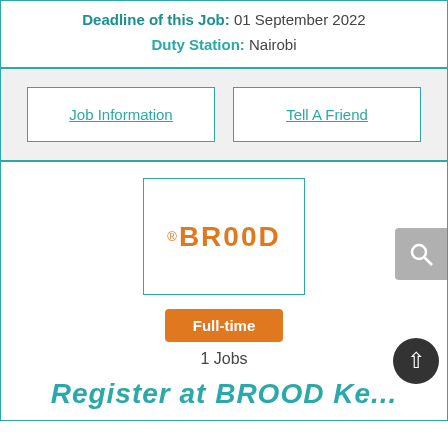Deadline of this Job: 01 September 2022
Duty Station: Nairobi
Job Information
Tell A Friend
[Figure (logo): BROOD company logo in orange with registered trademark symbol]
Full-time
1 Jobs
Register at BROOD Ke...